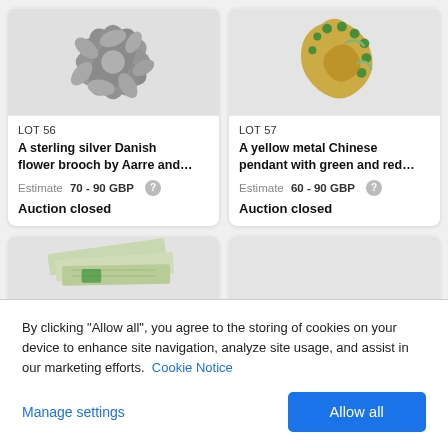[Figure (photo): Sterling silver Danish flower brooch - top portion of LOT 56 item card]
[Figure (photo): Yellow metal Chinese pendant with green and red decoration - top portion of LOT 57 item card]
LOT 56
A sterling silver Danish flower brooch by Aarre and…
Estimate 70 - 90 GBP
Auction closed
LOT 57
A yellow metal Chinese pendant with green and red…
Estimate 60 - 90 GBP
Auction closed
[Figure (photo): Partial view of LOT card at bottom left showing what appears to be paper money/banknotes]
By clicking "Allow all", you agree to the storing of cookies on your device to enhance site navigation, analyze site usage, and assist in our marketing efforts. Cookie Notice
Manage settings
Allow all